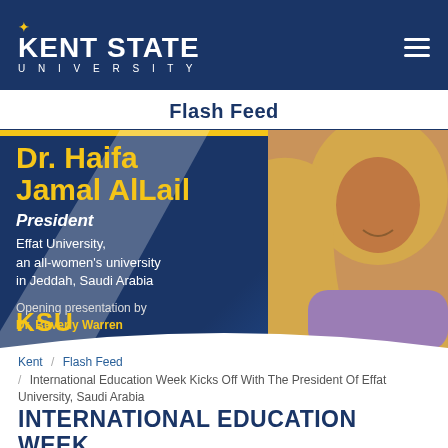KENT STATE UNIVERSITY
Flash Feed
[Figure (photo): Banner image featuring Dr. Haifa Jamal AlLail, President of Effat University, an all-women's university in Jeddah, Saudi Arabia. Text overlay includes her name in gold, her title in white italic, and a note about an opening presentation by Dr. Beverly Warren. A woman in a yellow hijab is visible on the right side of the banner.]
Kent / Flash Feed / International Education Week Kicks Off With The President Of Effat University, Saudi Arabia
INTERNATIONAL EDUCATION WEEK